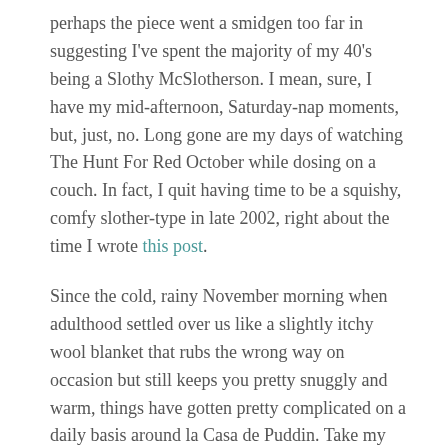perhaps the piece went a smidgen too far in suggesting I've spent the majority of my 40's being a Slothy McSlotherson. I mean, sure, I have my mid-afternoon, Saturday-nap moments, but, just, no. Long gone are my days of watching The Hunt For Red October while dosing on a couch. In fact, I quit having time to be a squishy, comfy slother-type in late 2002, right about the time I wrote this post.
Since the cold, rainy November morning when adulthood settled over us like a slightly itchy wool blanket that rubs the wrong way on occasion but still keeps you pretty snuggly and warm, things have gotten pretty complicated on a daily basis around la Casa de Puddin. Take my Monday, for instance:
6:21 AM – iPhone alarms goes off. Why 21 minutes